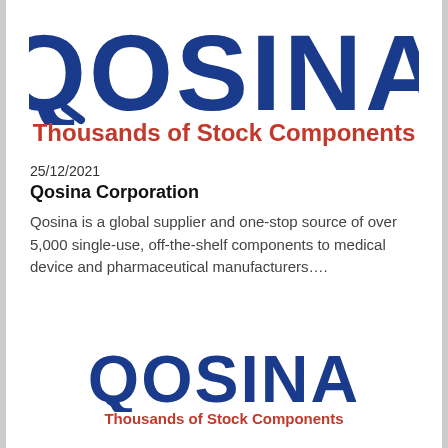[Figure (logo): QOSINA logo in large dark blue bold text with tagline 'Thousands of Stock Components' in red below]
25/12/2021
Qosina Corporation
Qosina is a global supplier and one-stop source of over 5,000 single-use, off-the-shelf components to medical device and pharmaceutical manufacturers….
[Figure (logo): QOSINA logo smaller version in dark blue bold text with tagline 'Thousands of Stock Components' in red below]